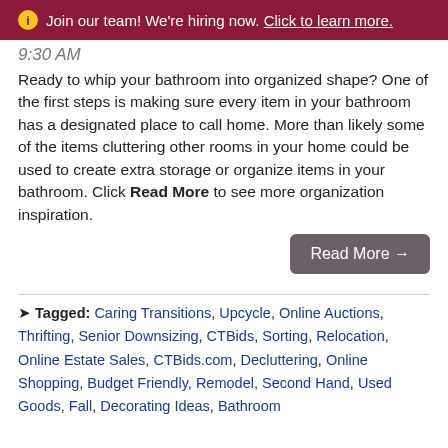ℹ Join our team! We're hiring now. Click to learn more.
9:30 AM
Ready to whip your bathroom into organized shape? One of the first steps is making sure every item in your bathroom has a designated place to call home. More than likely some of the items cluttering other rooms in your home could be used to create extra storage or organize items in your bathroom. Click Read More to see more organization inspiration.
Read More →
Tagged: Caring Transitions, Upcycle, Online Auctions, Thrifting, Senior Downsizing, CTBids, Sorting, Relocation, Online Estate Sales, CTBids.com, Decluttering, Online Shopping, Budget Friendly, Remodel, Second Hand, Used Goods, Fall, Decorating Ideas, Bathroom